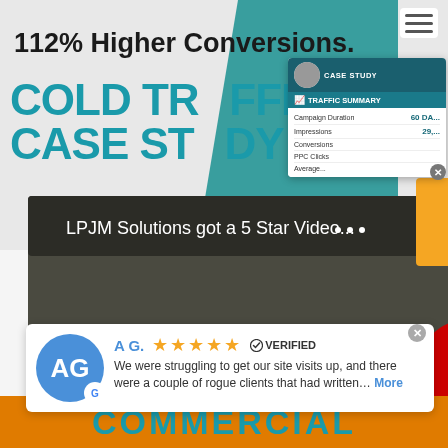112% Higher Conversions.
COLD TRAFFIC CASE STUDY
[Figure (screenshot): Case study card overlay showing TRAFFIC SUMMARY with campaign duration, impressions, conversions, PPC clicks data on a dark teal background]
[Figure (screenshot): YouTube video thumbnail of a woman with blonde hair, LPJM Solutions got a 5 Star Video... with red YouTube play button]
A G.    ⭐⭐⭐⭐⭐    ✅ VERIFIED
We were struggling to get our site visits up, and there were a couple of rogue clients that had written… More
COMMERCIAL